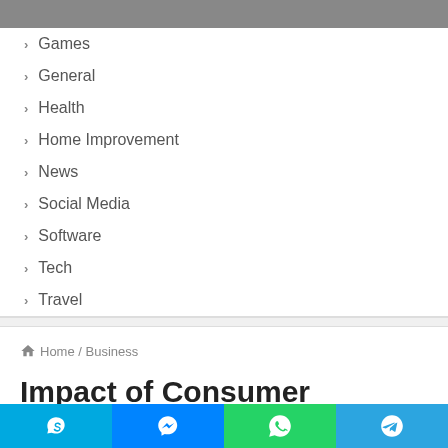Games
General
Health
Home Improvement
News
Social Media
Software
Tech
Travel
Home / Business
Impact of Consumer Behavior